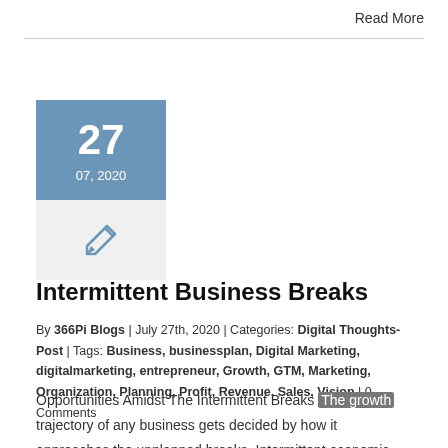Read More
[Figure (other): Calendar block showing date 27, 07, 2020 in blue, with a pen/edit icon below on grey background]
Intermittent Business Breaks
By 366Pi Blogs | July 27th, 2020 | Categories: Digital Thoughts-Post | Tags: Business, businessplan, Digital Marketing, digitalmarketing, entrepreneur, Growth, GTM, Marketing, Organization, Planning, Profit, Revenue, Sales, Vision | 0 Comments
Opportunities Amidst The Intermittent Breaks The growth trajectory of any business gets decided by how it approaches the unplanned breaks. Intermittent economic